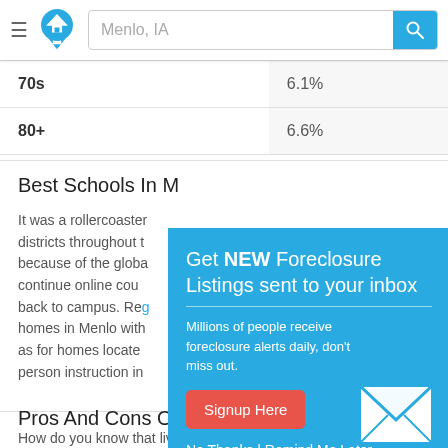Menlo, IA
|  |  |
| --- | --- |
| 70s | 6.1% |
| 80+ | 6.6% |
Best Schools In M...
It was a rollercoaster... districts throughout t... because of the globa... continue online cour... back to campus. Reg... homes in Menlo with... as for homes locate... person instruction in...
[Figure (other): Popup modal: Get NEW Foreclosure Listings sent to your inbox. Millions of people receive foreclosure alerts daily, don't miss out. Signup Here button. No Thanks | Remind Me Later links. Envelope icon on right.]
Pros And Cons Of Living In Menlo, Iowa
How do you know that living in -- or moving to -- Menlo is right